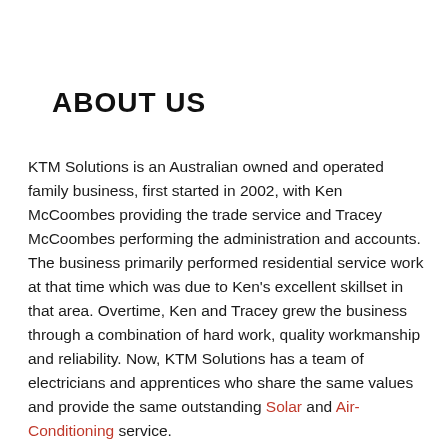ABOUT US
KTM Solutions is an Australian owned and operated family business, first started in 2002, with Ken McCoombes providing the trade service and Tracey McCoombes performing the administration and accounts. The business primarily performed residential service work at that time which was due to Ken’s excellent skillset in that area. Overtime, Ken and Tracey grew the business through a combination of hard work, quality workmanship and reliability. Now, KTM Solutions has a team of electricians and apprentices who share the same values and provide the same outstanding Solar and Air-Conditioning service.